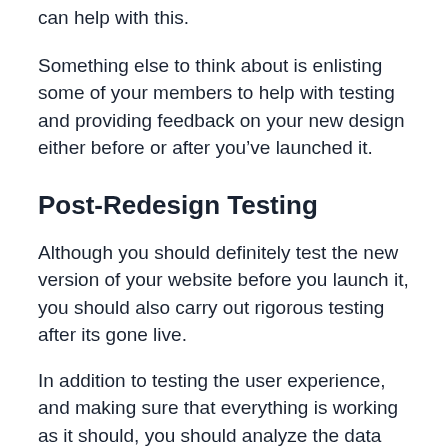can help with this.
Something else to think about is enlisting some of your members to help with testing and providing feedback on your new design either before or after you’ve launched it.
Post-Redesign Testing
Although you should definitely test the new version of your website before you launch it, you should also carry out rigorous testing after its gone live.
In addition to testing the user experience, and making sure that everything is working as it should, you should analyze the data collected by